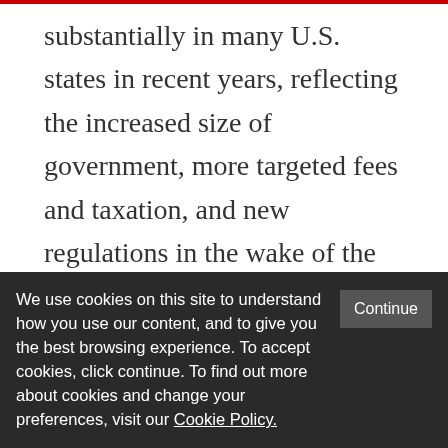substantially in many U.S. states in recent years, reflecting the increased size of government, more targeted fees and taxation, and new regulations in the wake of the latest credit crisis. Continued reductions in economic freedom could thus make political connections potentially more valuable and more important to banks and other highly regulated firms. In summary, there is evidence to suggest that it does
We use cookies on this site to understand how you use our content, and to give you the best browsing experience. To accept cookies, click continue. To find out more about cookies and change your preferences, visit our Cookie Policy.